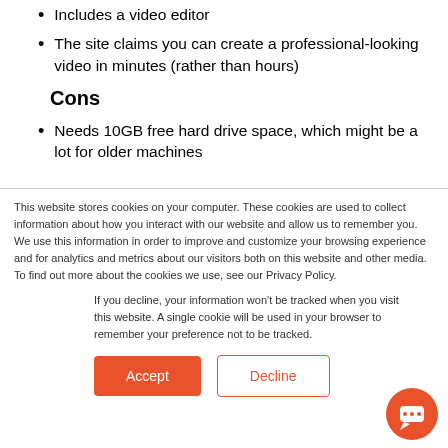Includes a video editor
The site claims you can create a professional-looking video in minutes (rather than hours)
Cons
Needs 10GB free hard drive space, which might be a lot for older machines
This website stores cookies on your computer. These cookies are used to collect information about how you interact with our website and allow us to remember you. We use this information in order to improve and customize your browsing experience and for analytics and metrics about our visitors both on this website and other media. To find out more about the cookies we use, see our Privacy Policy.
If you decline, your information won't be tracked when you visit this website. A single cookie will be used in your browser to remember your preference not to be tracked.